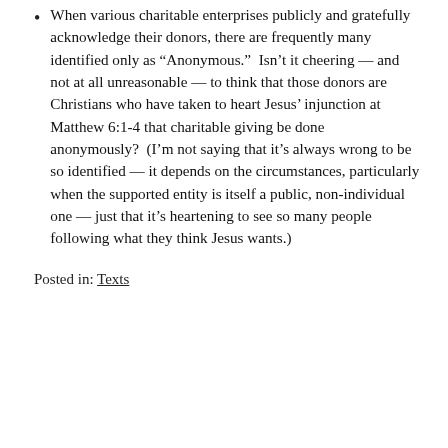When various charitable enterprises publicly and gratefully acknowledge their donors, there are frequently many identified only as “Anonymous.”  Isn’t it cheering — and not at all unreasonable — to think that those donors are Christians who have taken to heart Jesus’ injunction at Matthew 6:1-4 that charitable giving be done anonymously?  (I’m not saying that it’s always wrong to be so identified — it depends on the circumstances, particularly when the supported entity is itself a public, non-individual one — just that it’s heartening to see so many people following what they think Jesus wants.)
Posted in: Texts